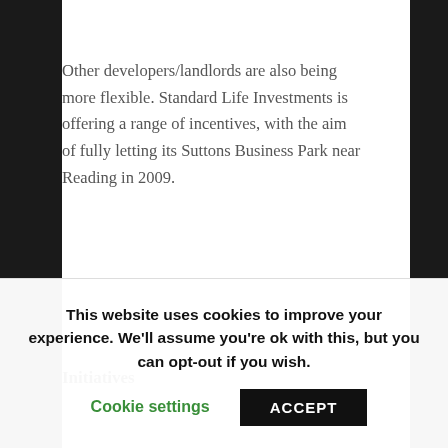Other developers/landlords are also being more flexible. Standard Life Investments is offering a range of incentives, with the aim of fully letting its Suttons Business Park near Reading in 2009.
Initiatives
Initiatives being offered include the payment of all or part of a new tenant's dilapidations costs on its previous premises, or fit-out of its new space at Suttons. In addition, existing tenants could benefit from a rent-free period for introducing a new